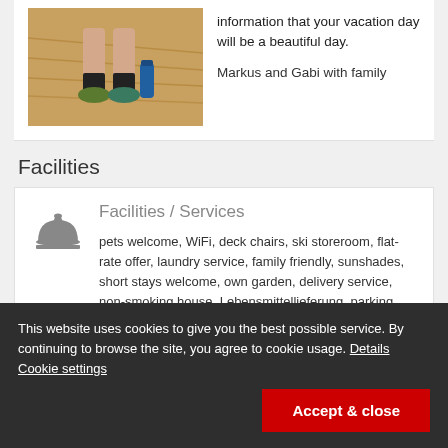[Figure (photo): Photo of person sitting on hay bale wearing hiking shoes and black socks outdoors]
information that your vacation day will be a beautiful day.
Markus and Gabi with family
Facilities
[Figure (illustration): Bell/cloche service icon]
Facilities / Services
pets welcome, WiFi, deck chairs, ski storeroom, flat-rate offer, laundry service, family friendly, sunshades, short stays welcome, own garden, delivery service, non-smoking house, Lebensmittellieferung, parking space for bicycles, laundry facilities available, heating, garden barbecue, free pickup from train, terrace, Brettspiele/Puzzle, car parking lot, Zugang mit
This website uses cookies to give you the best possible service. By continuing to browse the site, you agree to cookie usage. Details Cookie settings
Accept & close